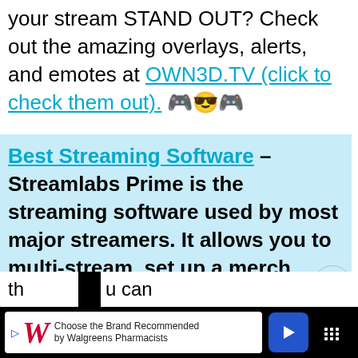your stream STAND OUT? Check out the amazing overlays, alerts, and emotes at OWN3D.TV (click to check them out). 🎮😎🎮
Best Streaming Software – Streamlabs Prime is the streaming software used by most major streamers. It allows you to multi-stream, set up a merch store, and much more. Click here to check them out 🎮
Best Music – Looking for music you can safely play on stream? Epidemic Sound has th... of DMCA free ... that ... u can sa... be
[Figure (screenshot): Walgreens advertisement bar at bottom of screen with play button, Walgreens cursive logo, text 'Choose the Brand Recommended by Walgreens Pharmacists', and blue navigation arrow icon. Dark overlay on page edges.]